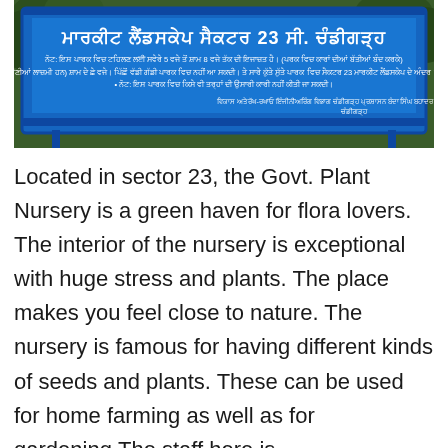[Figure (photo): A blue sign board with Punjabi/Hindi text reading about Market Sector 23, Chandigarh government plant nursery information, mounted on a blue metal frame with green foliage visible in the background.]
Located in sector 23, the Govt. Plant Nursery is a green haven for flora lovers. The interior of the nursery is exceptional with huge stress and plants. The place makes you feel close to nature. The nursery is famous for having different kinds of seeds and plants. These can be used for home farming as well as for gardening.The staff here is knowledgeable. They are always ready to help you make the right decisions for your garden. It is a government-run facility and is more affordable than many other private offerings in the city. If you are on a budget and wish to get the best value for your money, then this is the place...